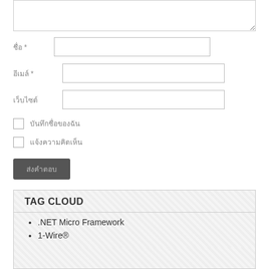[Figure (screenshot): Web form with textarea, text input fields for name and email (marked required with asterisks), website field, two checkboxes with Thai-script labels, and a submit button with Thai text]
TAG CLOUD
.NET Micro Framework
1-Wire®